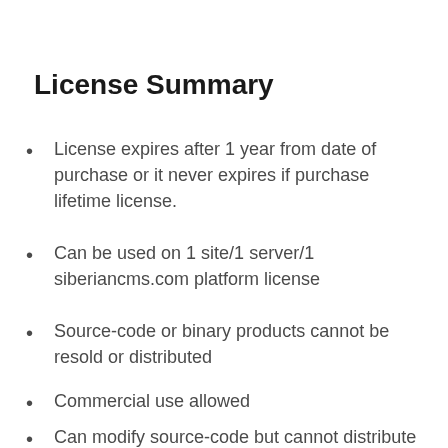License Summary
License expires after 1 year from date of purchase or it never expires if purchase lifetime license.
Can be used on 1 site/1 server/1 siberiancms.com platform license
Source-code or binary products cannot be resold or distributed
Commercial use allowed
Can modify source-code but cannot distribute modifications (clarification only)